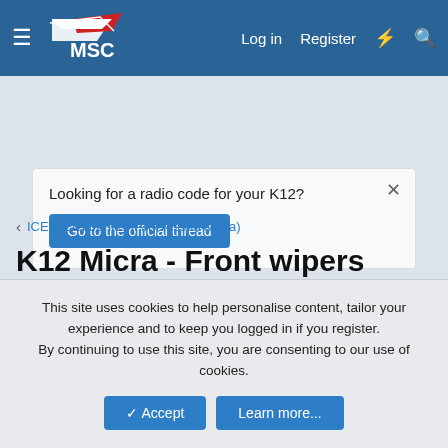MSC forum header with Log in, Register, and search navigation
Looking for a radio code for your K12?
Go to the official thread
ICE + Electronics (Any Nissan Micra)
K12 Micra - Front wipers stopped working - Wiper Relay?
TheSnowMan · Jul 17, 2012
This site uses cookies to help personalise content, tailor your experience and to keep you logged in if you register.
By continuing to use this site, you are consenting to our use of cookies.
✓ Accept   Learn more...